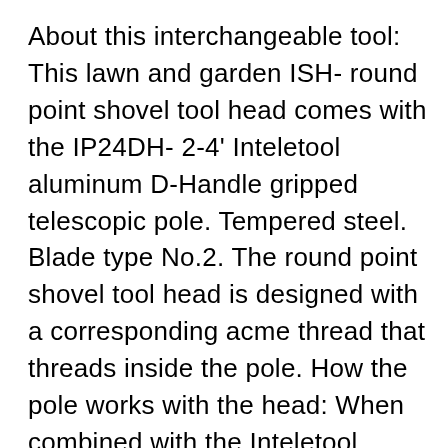About this interchangeable tool: This lawn and garden ISH- round point shovel tool head comes with the IP24DH- 2-4' Inteletool aluminum D-Handle gripped telescopic pole. Tempered steel. Blade type No.2. The round point shovel tool head is designed with a corresponding acme thread that threads inside the pole. How the pole works with the head: When combined with the Inteletool telescopic pole, the tool head attaches and detaches and telescopic pole collapses for easy storage and transport. The Inteletool tool head (male) and the all fiberglass telescopic pole (female) both utilize the ACME thread in combination with a nylon collar lock on the pole to connect the tool